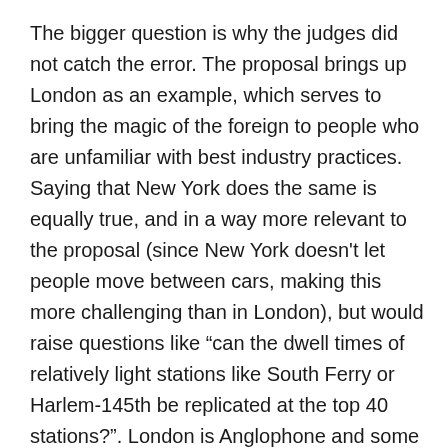The bigger question is why the judges did not catch the error. The proposal brings up London as an example, which serves to bring the magic of the foreign to people who are unfamiliar with best industry practices. Saying that New York does the same is equally true, and in a way more relevant to the proposal (since New York doesn't let people move between cars, making this more challenging than in London), but would raise questions like “can the dwell times of relatively light stations like South Ferry or Harlem-145th be replicated at the top 40 stations?”. London is Anglophone and some reformist New Yorkers have used it as a source of foreign ideas the way they wouldn’t use non-Anglophone cities. But the judges didn’t do the basic due diligence of checking whether London really implements the idea as widely as the proposal implies, and if not, then why not.